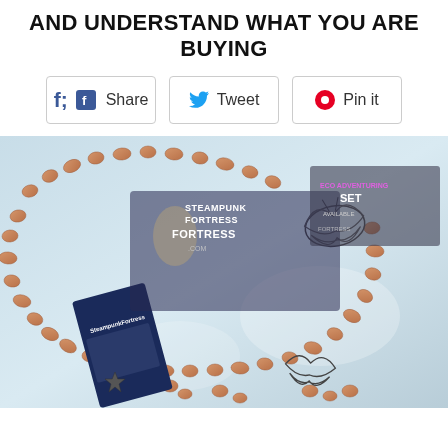AND UNDERSTAND WHAT YOU ARE BUYING
Share | Tweet | Pin it
[Figure (photo): Photo of a beaded necklace with butterfly and star charms along with jewelry tags, displayed on a light blue/white surface. Steampunk Fortress watermark visible. Also shows a pink tag reading 'ECO ADVENTURING SET AVAILABLE'.]